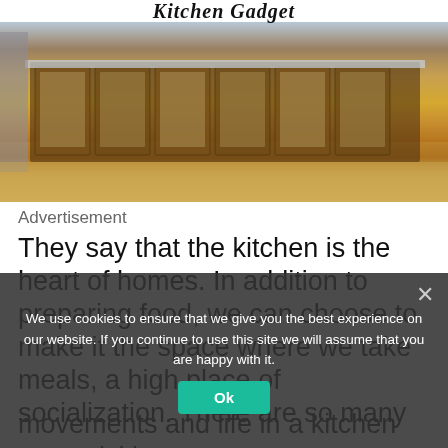Kitchen Gadget
[Figure (photo): Kitchen interior showing wooden cabinets with glass doors displaying dishes, with hardwood flooring and stainless steel appliances visible]
Advertisement
They say that the kitchen is the heart of homes. In addition to preparing food, we can choose to make it the space where we take meals, a high place of socialization. There are so many movements and life in a kitchen can quickly turn in... what you are looking for when you are looking for it – where is that sp...how to make dishes
We use cookies to ensure that we give you the best experience on our website. If you continue to use this site we will assume that you are happy with it.